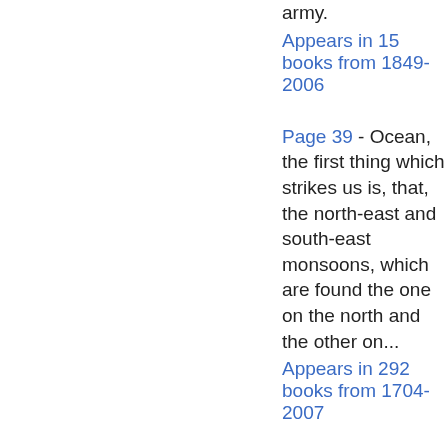army.
Appears in 15 books from 1849-2006
Page 39 - Ocean, the first thing which strikes us is, that, the north-east and south-east monsoons, which are found the one on the north and the other on...
Appears in 292 books from 1704-2007
Page 24 - In the eleventh century the word castel was introduced into our language to mark something which was evidently quite distinct from the familiar burh of ancient times.
Appears in 7 books from